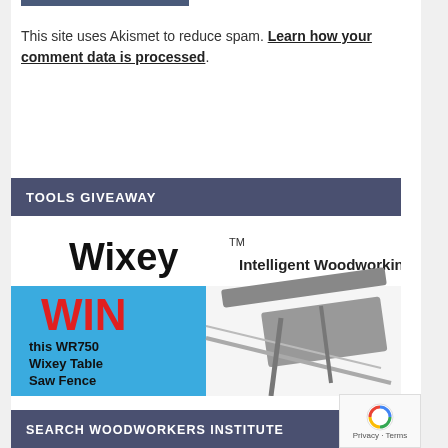This site uses Akismet to reduce spam. Learn how your comment data is processed.
TOOLS GIVEAWAY
[Figure (illustration): Wixey Intelligent Woodworking advertisement banner. Shows WIN this WR750 Wixey Table Saw Fence with Click here text in red, and an image of the table saw fence tool.]
SEARCH WOODWORKERS INSTITUTE